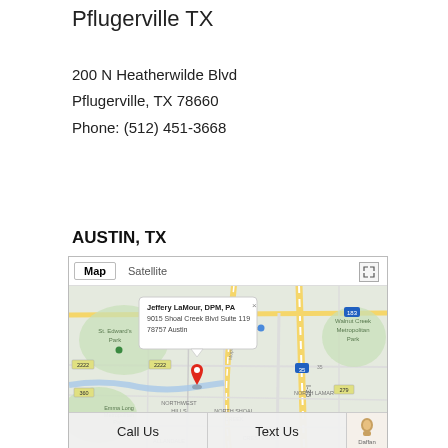Pflugerville TX
200 N Heatherwilde Blvd
Pflugerville, TX 78660
Phone: (512) 451-3668
AUSTIN, TX
[Figure (map): Google Map showing Austin TX location for Jeffery LaMour DPM PA at 9015 Shoal Creek Blvd Suite 119, 78757 Austin. Map shows areas including St. Edward's Park, The Domain, Walnut Creek Metropolitan Park, Emma Long Metropolitan Park, Northwest Hills, Crestview, Allandale. Red pin at location.]
Call Us
Text Us